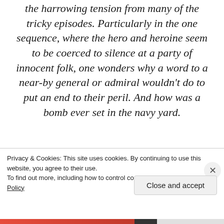the harrowing tension from many of the tricky episodes. Particularly in the one sequence, where the hero and heroine seem to be coerced to silence at a party of innocent folk, one wonders why a word to a near-by general or admiral wouldn't do to put an end to their peril. And how was a bomb ever set in the navy yard.
As usual, Mr. Hitchcock and his writers...
Privacy & Cookies: This site uses cookies. By continuing to use this website, you agree to their use. To find out more, including how to control cookies, see here: Cookie Policy